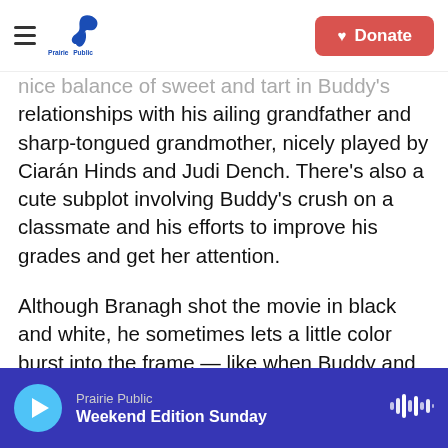Prairie Public | Donate
nice balance of sweet and tart in Buddy's relationships with his ailing grandfather and sharp-tongued grandmother, nicely played by Ciarán Hinds and Judi Dench. There's also a cute subplot involving Buddy's crush on a classmate and his efforts to improve his grades and get her attention.
Although Branagh shot the movie in black and white, he sometimes lets a little color burst into the frame — like when Buddy and his family go to the pictures and watch late '60s hits like Chitty Chitty Bang Bang. In showing us these brightly colored images, Branagh foreshadows his own career as a filmmaker and pays tribute to the magic of the
Prairie Public — Weekend Edition Sunday